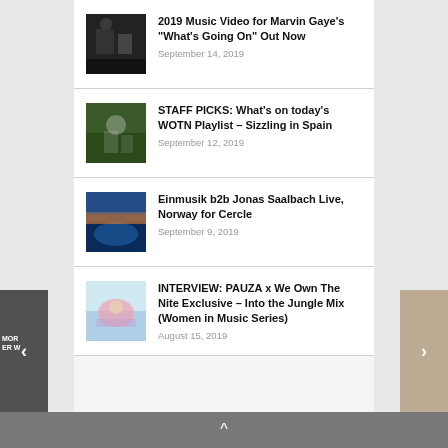2019 Music Video for Marvin Gaye’s “What’s Going On” Out Now
September 14, 2019
STAFF PICKS: What’s on today’s WOTN Playlist – Sizzling in Spain
September 12, 2019
Einmusik b2b Jonas Saalbach Live, Norway for Cercle
September 9, 2019
INTERVIEW: PAUZA x We Own The Nite Exclusive – Into the Jungle Mix (Women in Music Series)
August 15, 2019